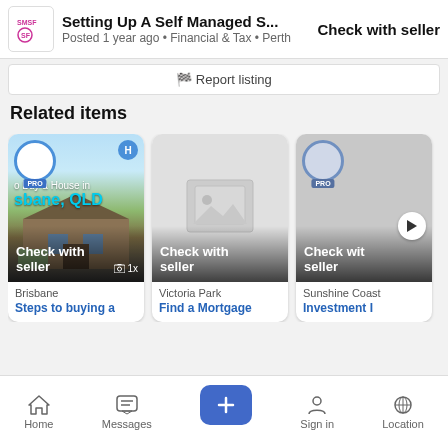Setting Up A Self Managed S... · Check with seller · Posted 1 year ago · Financial & Tax · Perth
🏁 Report listing
Related items
[Figure (screenshot): Card 1: House listing for Brisbane - 'Steps to buying a' with PRO badge, house photo, 'sbane, QLD' text, Check with seller price, 1x photo count]
[Figure (screenshot): Card 2: Listing for Victoria Park - 'Find a Mortgage' with placeholder image and 'Check with seller' price]
[Figure (screenshot): Card 3: Listing for Sunshine Coast - 'Investment I...' with PRO badge, gray image, play button, 'Check with seller' price]
Home · Messages · + · Sign in · Location